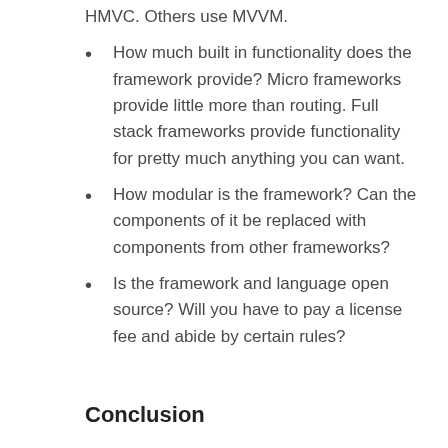HMVC. Others use MVVM.
How much built in functionality does the framework provide? Micro frameworks provide little more than routing. Full stack frameworks provide functionality for pretty much anything you can want.
How modular is the framework? Can the components of it be replaced with components from other frameworks?
Is the framework and language open source? Will you have to pay a license fee and abide by certain rules?
Conclusion
After all my research here is what I determined about myself.